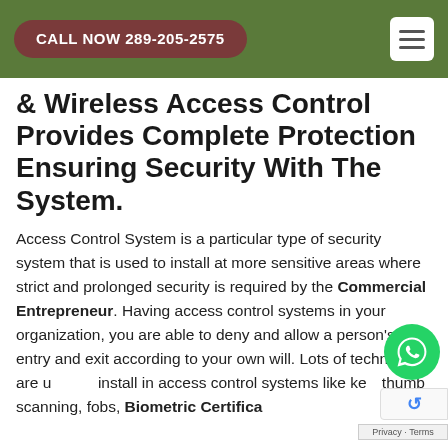CALL NOW 289-205-2575
& Wireless Access Control Provides Complete Protection Ensuring Security With The System.
Access Control System is a particular type of security system that is used to install at more sensitive areas where strict and prolonged security is required by the Commercial Entrepreneur. Having access control systems in your organization, you are able to deny and allow a person's entry and exit according to your own will. Lots of techniques are used to install in access control systems like key, thumb scanning, fobs, Biometric Certifica…